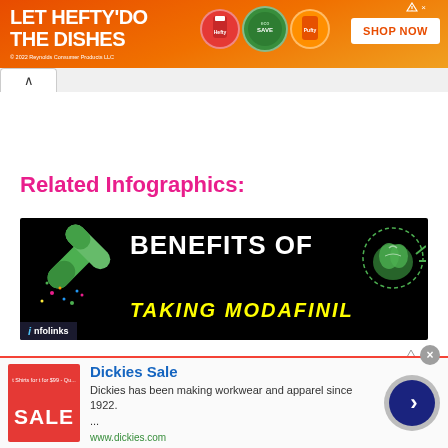[Figure (infographic): Hefty advertisement banner: orange background with 'LET HEFTY DO THE DISHES' text, product images of dish soap containers, and 'SHOP NOW' button. Copyright 2022 Reynolds Consumer Products LLC.]
[Figure (infographic): Related Infographics section with black banner showing 'BENEFITS OF TAKING MODAFINIL' text with green pill graphics and brain graphic on the right side. Infolinks badge visible.]
[Figure (infographic): Dickies Sale advertisement: red sale box on the left, 'Dickies Sale' title in blue, description text 'Dickies has been making workwear and apparel since 1922...', URL www.dickies.com, and a dark blue circular arrow button on the right.]
Related Infographics: